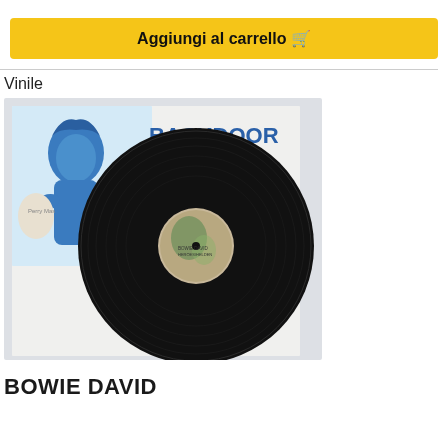Aggiungi al carrello 🛒
Vinile
[Figure (photo): A vinyl record (LP) leaning against a Backdoor Records store sleeve. The sleeve is white with a blue illustrated character holding records and the word BACKDOOR in blue text. The record is black with a central label showing artwork.]
BOWIE DAVID